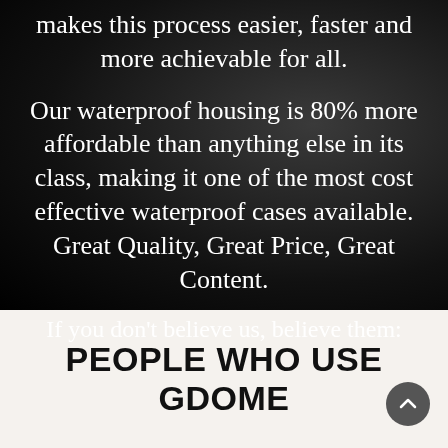makes this process easier, faster and more achievable for all.
Our waterproof housing is 80% more affordable than anything else in its class, making it one of the most cost effective waterproof cases available. Great Quality, Great Price, Great Content.
If you don't believe us, believe them:
PEOPLE WHO USE GDOME